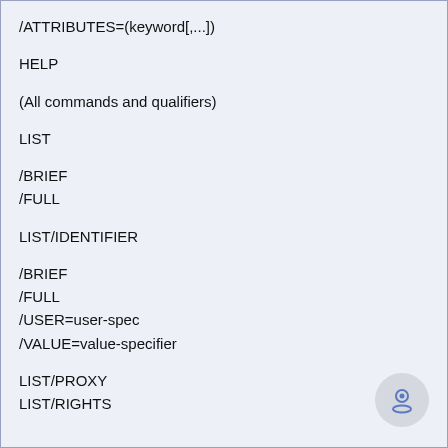/ATTRIBUTES=(keyword[,...])
HELP
(All commands and qualifiers)
LIST
/BRIEF
/FULL
LIST/IDENTIFIER
/BRIEF
/FULL
/USER=user-spec
/VALUE=value-specifier
LIST/PROXY
LIST/RIGHTS